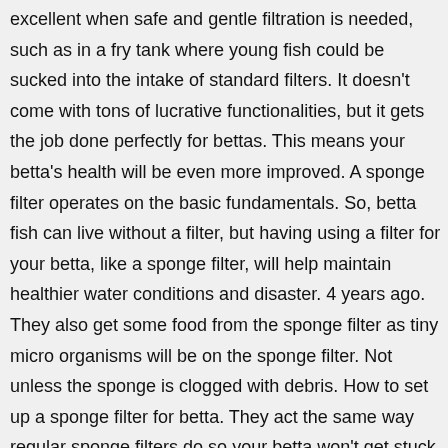excellent when safe and gentle filtration is needed, such as in a fry tank where young fish could be sucked into the intake of standard filters. It doesn't come with tons of lucrative functionalities, but it gets the job done perfectly for bettas. This means your betta's health will be even more improved. A sponge filter operates on the basic fundamentals. So, betta fish can live without a filter, but having using a filter for your betta, like a sponge filter, will help maintain healthier water conditions and disaster. 4 years ago. They also get some food from the sponge filter as tiny micro organisms will be on the sponge filter. Not unless the sponge is clogged with debris. How to set up a sponge filter for betta. They act the same way regular sponge filters do so your betta won't get stuck. FREE Delivery on your first order of items shipped by Amazon. You can clean your filter and substrate, but not both at the same time as one will seed the other with the aforementioned bacteria. There... An airstone is practical to use inside the sponge filter. 99. i'm planning on getting a sponge filter (max 20g) for my 10 gallon betta tank, which will house a